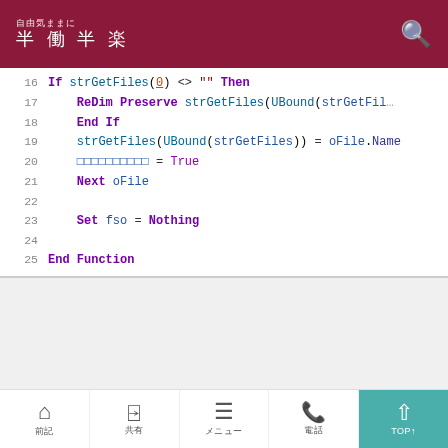自由気ままに 半働半楽
[Figure (screenshot): Code block showing VBA/VBS code lines 16-25 with syntax highlighting, including If strGetFiles(0) <> "" Then, ReDim Preserve strGetFiles, End If, strGetFiles(UBound(strGetFiles)) = oFile.Name, boolean assignment = True, Next oFile, Set fso = Nothing, End Function]
□□□□□□□□□□□□FileSystemObject□□□□□□□□□□□□□□□□□□□□□□□□□
□
□□□□□□□□□□□□□□FileSystemoObject□□□□□□□□□□□□□□□□□□□□
前記 共有 メニュー 電話 TOP↑